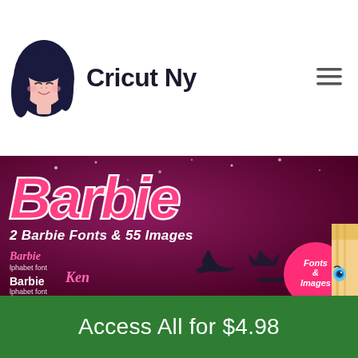Cricut Ny
[Figure (illustration): Barbie-themed product image showing 'Barbie' logo text in pink and white, with subtitle '2 Barbie Fonts & 55 Images', showing alphabet font samples for Barbie and Ken fonts, silhouette images of high heels, crown, ring, bow, and a blonde doll face on the right side, with a pink circle badge saying 'Fonts & Images']
Access All for $4.98